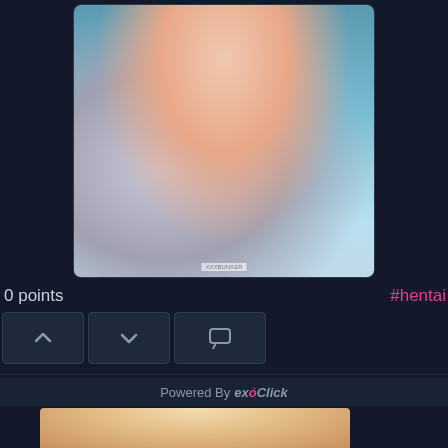[Figure (illustration): Anime/manga style illustration of a female character in a school uniform kneeling on a wet floor with a bucket]
0 points
#hentai
[Figure (infographic): UI buttons: upvote arrow, downvote arrow, comment icon, and heart/like icon]
Powered By exoClick
[Figure (photo): Partial photo of a blonde woman looking upward]